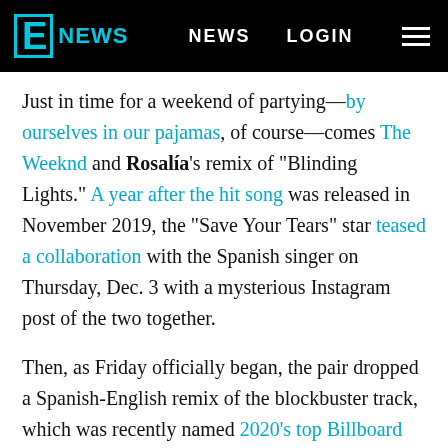E! NEWS   NEWS   LOGIN
Just in time for a weekend of partying—by ourselves in our pajamas, of course—comes The Weeknd and Rosalía's remix of "Blinding Lights." A year after the hit song was released in November 2019, the "Save Your Tears" star teased a collaboration with the Spanish singer on Thursday, Dec. 3 with a mysterious Instagram post of the two together.
Then, as Friday officially began, the pair dropped a Spanish-English remix of the blockbuster track, which was recently named 2020's top Billboard Hot 100 song and Spotify's most-streamed song of the